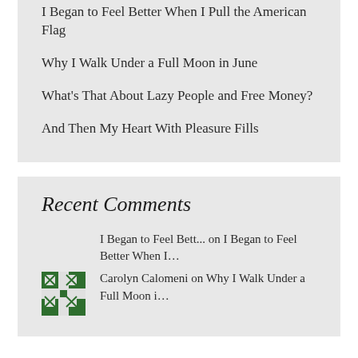I Began to Feel Better When I Pull the American Flag
Why I Walk Under a Full Moon in June
What's That About Lazy People and Free Money?
And Then My Heart With Pleasure Fills
Recent Comments
I Began to Feel Bett... on I Began to Feel Better When I…
Carolyn Calomeni on Why I Walk Under a Full Moon i…